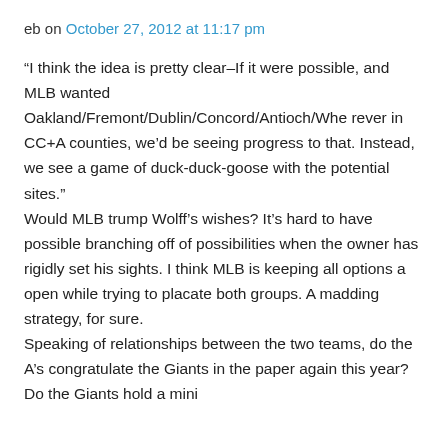eb on October 27, 2012 at 11:17 pm
“I think the idea is pretty clear–If it were possible, and MLB wanted Oakland/Fremont/Dublin/Concord/Antioch/Wherever in CC+A counties, we’d be seeing progress to that. Instead, we see a game of duck-duck-goose with the potential sites.” Would MLB trump Wolff’s wishes? It’s hard to have possible branching off of possibilities when the owner has rigidly set his sights. I think MLB is keeping all options a open while trying to placate both groups. A madding strategy, for sure. Speaking of relationships between the two teams, do the A’s congratulate the Giants in the paper again this year? Do the Giants hold a mini